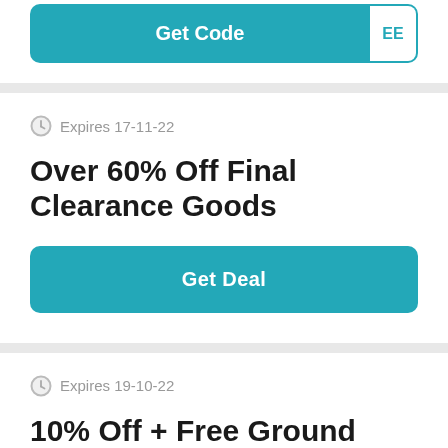[Figure (screenshot): Partial view of a coupon card with a teal 'Get Code' button and clipped text 'EE' on the right side]
Expires 17-11-22
Over 60% Off Final Clearance Goods
Get Deal
Expires 19-10-22
10% Off + Free Ground Shipping On All Purchases When You Join